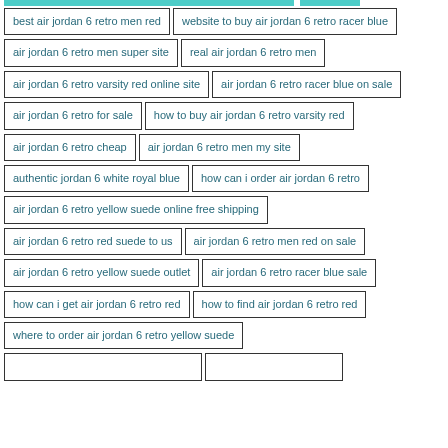best air jordan 6 retro men red
website to buy air jordan 6 retro racer blue
air jordan 6 retro men super site
real air jordan 6 retro men
air jordan 6 retro varsity red online site
air jordan 6 retro racer blue on sale
air jordan 6 retro for sale
how to buy air jordan 6 retro varsity red
air jordan 6 retro cheap
air jordan 6 retro men my site
authentic jordan 6 white royal blue
how can i order air jordan 6 retro
air jordan 6 retro yellow suede online free shipping
air jordan 6 retro red suede to us
air jordan 6 retro men red on sale
air jordan 6 retro yellow suede outlet
air jordan 6 retro racer blue sale
how can i get air jordan 6 retro red
how to find air jordan 6 retro red
where to order air jordan 6 retro yellow suede